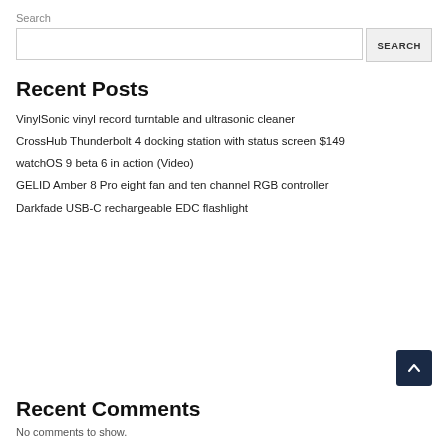Search
VinylSonic vinyl record turntable and ultrasonic cleaner
CrossHub Thunderbolt 4 docking station with status screen $149
watchOS 9 beta 6 in action (Video)
GELID Amber 8 Pro eight fan and ten channel RGB controller
Darkfade USB-C rechargeable EDC flashlight
Recent Posts
Recent Comments
No comments to show.